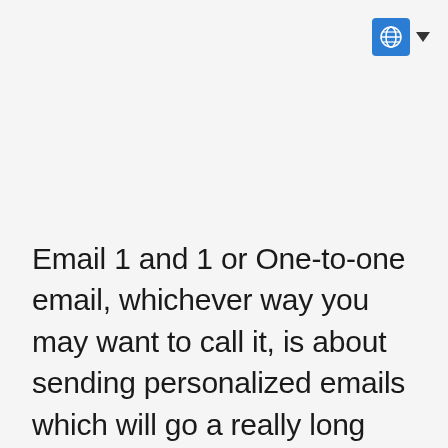[Figure (logo): Globe/world icon in blue square button with dropdown arrow]
Email 1 and 1 or One-to-one email, whichever way you may want to call it, is about sending personalized emails which will go a really long way in the business.
The fact is email personalization produces 6 higher...